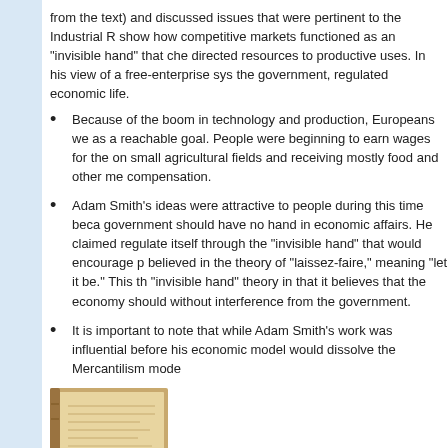from the text) and discussed issues that were pertinent to the Industrial R... show how competitive markets functioned as an "invisible hand" that che... directed resources to productive uses. In his view of a free-enterprise sys... the government, regulated economic life.
Because of the boom in technology and production, Europeans we... as a reachable goal. People were beginning to earn wages for the... on small agricultural fields and receiving mostly food and other me... compensation.
Adam Smith's ideas were attractive to people during this time beca... government should have no hand in economic affairs. He claimed... regulate itself through the "invisible hand" that would encourage p... believed in the theory of "laissez-faire," meaning "let it be." This th... "invisible hand" theory in that it believes that the economy should ... without interference from the government.
It is important to note that while Adam Smith's work was influential... before his economic model would dissolve the Mercantilism mode...
[Figure (photo): An old book with yellowed pages, photographed from above showing the open spine and cover.]